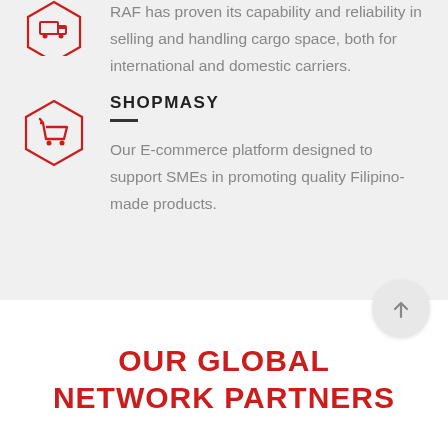[Figure (illustration): Red hexagon icon with a cargo/truck symbol at the top of the page (partially visible)]
RAF has proven its capability and reliability in selling and handling cargo space, both for international and domestic carriers.
[Figure (illustration): Red hexagon icon with a shopping cart symbol]
SHOPMASY
Our E-commerce platform designed to support SMEs in promoting quality Filipino-made products.
OUR GLOBAL NETWORK PARTNERS